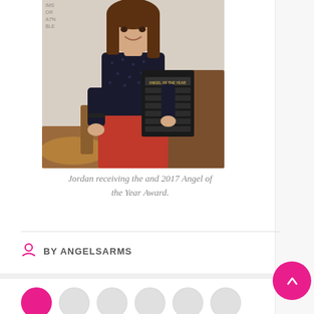[Figure (photo): A young woman smiling, holding a dark award plaque, wearing a black polka-dot top and red skirt, standing in front of wood-paneled furniture.]
Jordan receiving the and 2017 Angel of the Year Award.
BY ANGELSARMS
[Figure (other): Scroll-to-top button (pink circle with upward arrow) and row of avatar circles at bottom.]